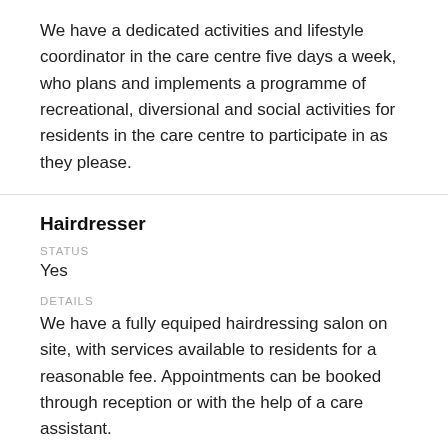We have a dedicated activities and lifestyle coordinator in the care centre five days a week, who plans and implements a programme of recreational, diversional and social activities for residents in the care centre to participate in as they please.
Hairdresser
STATUS
Yes
DETAILS
We have a fully equiped hairdressing salon on site, with services available to residents for a reasonable fee. Appointments can be booked through reception or with the help of a care assistant.
Podiatrist
STATUS